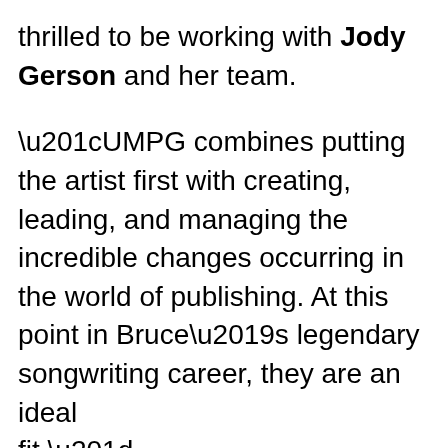thrilled to be working with Jody Gerson and her team.
“UMPG combines putting the artist first with creating, leading, and managing the incredible changes occurring in the world of publishing. At this point in Bruce’s legendary songwriting career, they are an ideal fit.”
“As an artist,” noted Gerson,